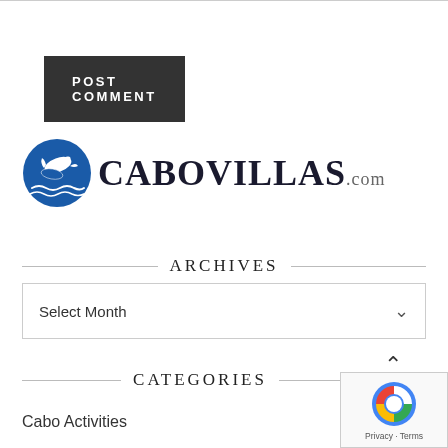POST COMMENT
[Figure (logo): CaboVillas.com logo with blue dolphin circle graphic]
ARCHIVES
Select Month
CATEGORIES
Cabo Activities
[Figure (other): Google reCAPTCHA badge with Privacy and Terms links]